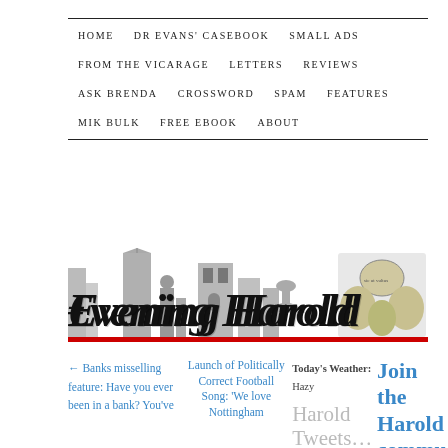HOME   DR EVANS' CASEBOOK   SMALL ADS   FROM THE VICARAGE   LETTERS   REVIEWS   ASK BRENDA   CROSSWORD   SPAM   FEATURES   MIK BULK   FREE EBOOK   ABOUT
[Figure (illustration): Evening Harold newspaper banner with grey silhouettes of buildings and figures behind the blackletter masthead 'Evening Harold', with a decorative emblem on the right and a red rule beneath]
← Banks misselling feature: Have you ever been in a bank? You've
Launch of Politically Correct Football Song: 'We love Nottingham
Today's Weather: Hazy
Harold Tweets…
My Tweets
Join the Harold commu on Faceb